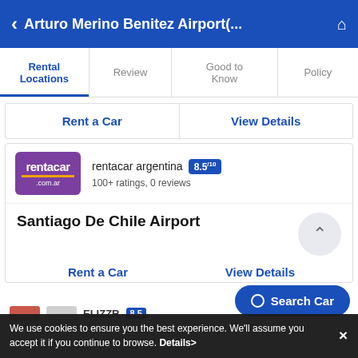< Arturo Merino Benitez Airport(... ⌂
Rental Locations | Review | Good to Know | Policy
Rent a Car   View Details
[Figure (logo): rentacar.com.ar purple logo with orange underline]
rentacar argentina  8.5/10
100+ ratings, 0 reviews
Santiago De Chile Airport
Rent a Car   View Details
Search Car
We use cookies to ensure you the best experience. We'll assume you accept it if you continue to browse. Details>  ×